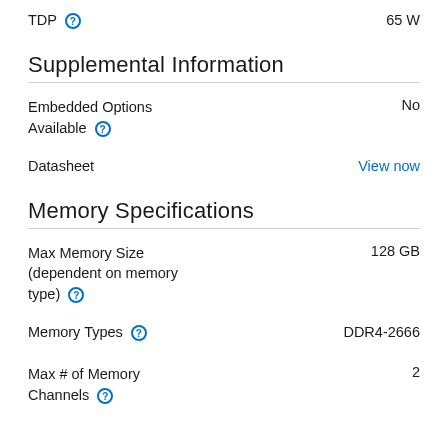TDP  65 W
Supplemental Information
Embedded Options Available  No
Datasheet  View now
Memory Specifications
Max Memory Size (dependent on memory type)  128 GB
Memory Types  DDR4-2666
Max # of Memory Channels  2